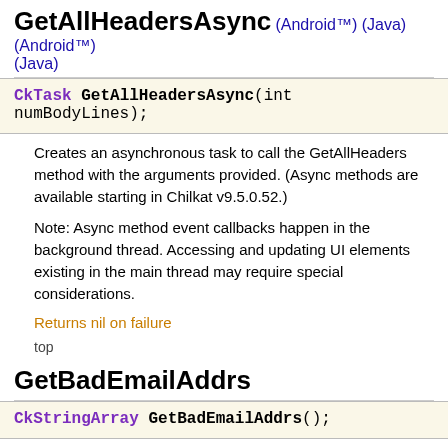GetAllHeadersAsync (Android™) (Java) (Android™) (Java)
CkTask GetAllHeadersAsync(int numBodyLines);
Creates an asynchronous task to call the GetAllHeaders method with the arguments provided. (Async methods are available starting in Chilkat v9.5.0.52.)
Note: Async method event callbacks happen in the background thread. Accessing and updating UI elements existing in the main thread may require special considerations.
Returns nil on failure
top
GetBadEmailAddrs
CkStringArray GetBadEmailAddrs();